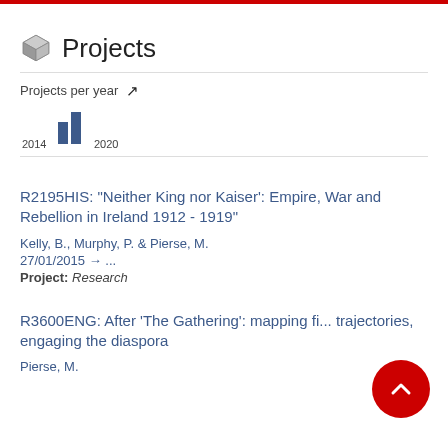Projects
Projects per year
[Figure (bar-chart): Projects per year]
R2195HIS: "Neither King nor Kaiser': Empire, War and Rebellion in Ireland 1912 - 1919"
Kelly, B., Murphy, P. & Pierse, M.
27/01/2015 → ...
Project: Research
R3600ENG: After 'The Gathering': mapping fu... trajectories, engaging the diaspora
Pierse, M.